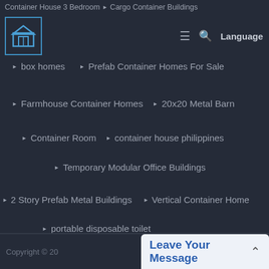Container House 3 Bedroom ▶ Cargo Container Buildings
[Figure (logo): Blue and white logo with stylized building/house icon]
▶ box homes  ▶ Prefab Container Homes For Sale
▶ Farmhouse Container Homes  ▶ 20x20 Metal Barn
▶ Container Room  ▶ container house philippines
▶ Temporary Modular Office Buildings
▶ 2 Story Prefab Metal Buildings  ▶ Vertical Container Home
▶ portable disposable toilet
▶ Prefabricated Modular Steel Structure
Copyright © 20...  Leave Your Message  ^